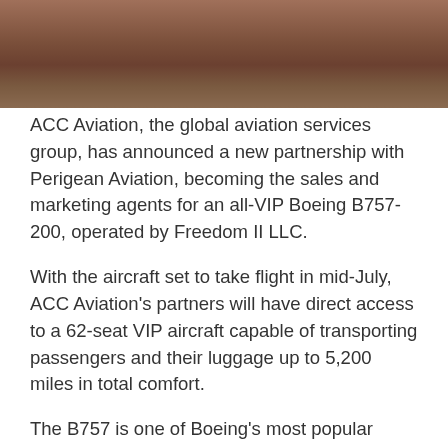[Figure (photo): Partial view of an aircraft interior or exterior, brownish/tan tones, cropped at top of page]
ACC Aviation, the global aviation services group, has announced a new partnership with Perigean Aviation, becoming the sales and marketing agents for an all-VIP Boeing B757-200, operated by Freedom II LLC.
With the aircraft set to take flight in mid-July, ACC Aviation's partners will have direct access to a 62-seat VIP aircraft capable of transporting passengers and their luggage up to 5,200 miles in total comfort.
The B757 is one of Boeing's most popular airframes, boasting impressive range and uplift capabilities, cruising speeds, and category-leading cabin comfort.
This unique 62-seat configuration bridges the gap between private charter and scheduled services, providing a flexible